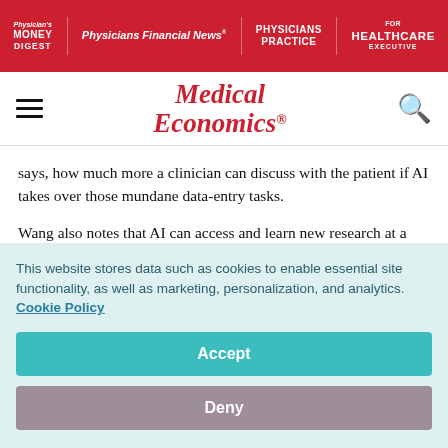Physician's Money Digest | Physicians Financial News | Physicians Practice | Healthcare Executive
[Figure (logo): Medical Economics logo with hamburger menu and search icon]
says, how much more a clinician can discuss with the patient if AI takes over those mundane data-entry tasks.
Wang also notes that AI can access and learn new research at a volume and speed impossible for any human to match. That means a physician using AI can expand his or her [breadth of knowledge...]
This website stores data such as cookies to enable essential site functionality, as well as marketing, personalization, and analytics. Cookie Policy
Accept
Deny